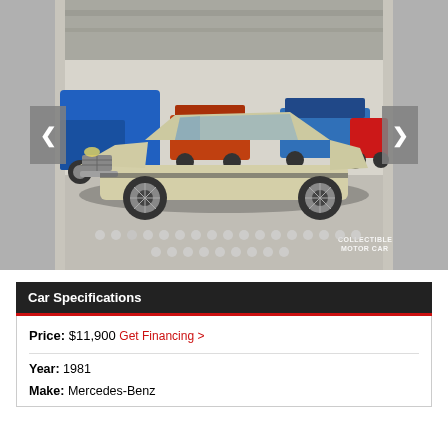[Figure (photo): A cream/ivory colored 1981 Mercedes-Benz classic convertible photographed in a large indoor showroom with other classic cars visible in the background. The car faces front-left. Watermark reads 'COLLECTIBLE MOTOR CAR'. Navigation arrows and dot carousel indicators are visible.]
Car Specifications
Price: $11,900 Get Financing >
Year: 1981
Make: Mercedes-Benz